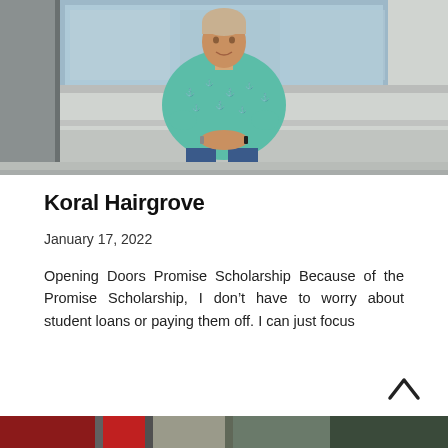[Figure (photo): Woman in teal/green anchor-print blouse and jeans, sitting with hands clasped, photographed against a concrete/building background]
Koral Hairgrove
January 17, 2022
Opening Doors Promise Scholarship Because of the Promise Scholarship, I don't have to worry about student loans or paying them off. I can just focus
[Figure (photo): Partial photo at bottom of page showing red/dark building exterior]